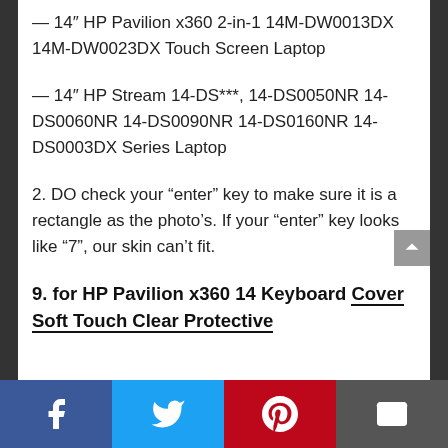— 14″ HP Pavilion x360 2-in-1 14M-DW0013DX 14M-DW0023DX Touch Screen Laptop
— 14″ HP Stream 14-DS***, 14-DS0050NR 14-DS0060NR 14-DS0090NR 14-DS0160NR 14-DS0003DX Series Laptop
2. DO check your “enter” key to make sure it is a rectangle as the photo’s. If your “enter” key looks like “7”, our skin can’t fit.
9. for HP Pavilion x360 14 Keyboard Cover Soft Touch Clear Protective